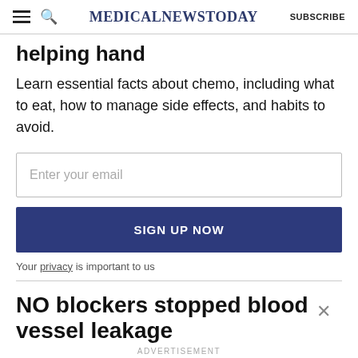MedicalNewsToday | SUBSCRIBE
helping hand
Learn essential facts about chemo, including what to eat, how to manage side effects, and habits to avoid.
Enter your email
SIGN UP NOW
Your privacy is important to us
NO blockers stopped blood vessel leakage
ADVERTISEMENT